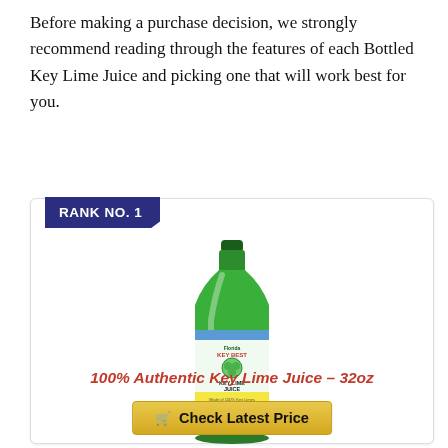Before making a purchase decision, we strongly recommend reading through the features of each Bottled Key Lime Juice and picking one that will work best for you.
RANK NO. 1
[Figure (photo): A green bottle of Florida Key Best 100% Authentic Key Lime Juice, 32oz, with a label showing limes and the product name.]
100% Authentic Key Lime Juice – 32oz
Check Latest Price